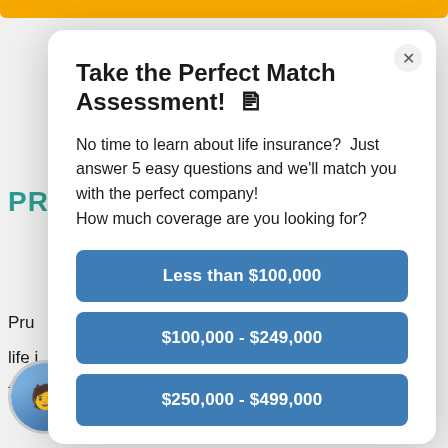Take the Perfect Match Assessment! 🔲
No time to learn about life insurance?  Just answer 5 easy questions and we'll match you with the perfect company! How much coverage are you looking for?
Less than $100,000
$100,000 - $249,000
$250,000 - $499,000